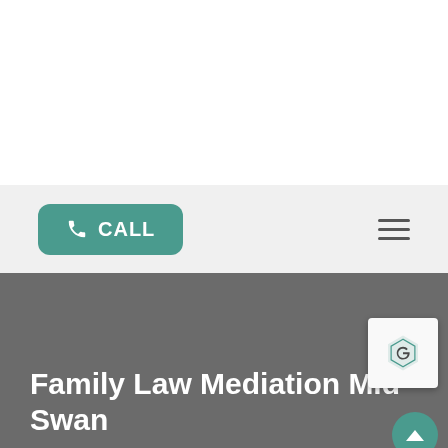[Figure (screenshot): White empty top section of a legal services website]
[Figure (screenshot): Navigation bar with teal CALL button on left and hamburger menu on right]
Family Law Mediation Mid Swan